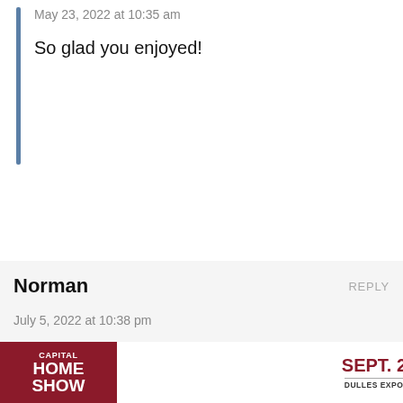May 23, 2022 at 10:35 am
So glad you enjoyed!
Norman
REPLY
July 5, 2022 at 10:38 pm
This recipe is amazing! May I know how long I can keep this for?
Sonja Overhiser
REPLY
July 6, 2022 at 10:12 am
[Figure (screenshot): Advertisement banner: Capital Home Show, Sept. 23-25, Dulles Expo Center, Save $3 Now, Click Here]